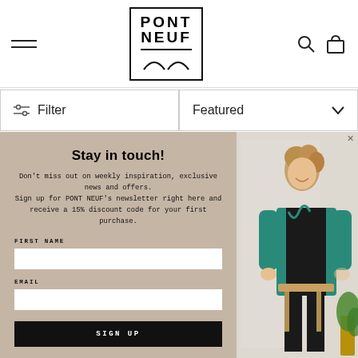[Figure (logo): PONT NEUF logo in bordered box with arc shapes at bottom]
[Figure (screenshot): Filter button with sliders icon on left side of filter bar]
[Figure (screenshot): Featured dropdown button with chevron on right side of filter bar]
Stay in touch!
Don't miss out on weekly inspiration, exclusive news and offers.
Sign up for PONT NEUF's newsletter right here and receive a 15% discount code for your first purchase.
FIRST NAME
EMAIL
SIGN UP
[Figure (photo): Woman wearing a teal/green cardigan over black outfit, sitting on a stool, smiling, with plants in background]